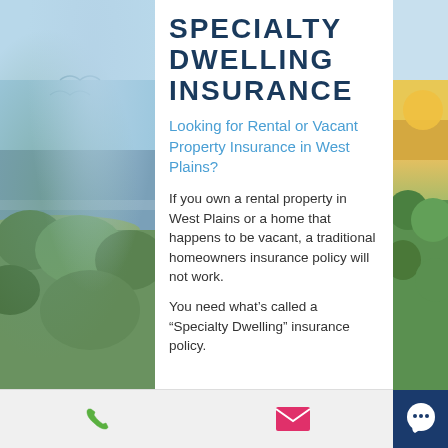SPECIALTY DWELLING INSURANCE
Looking for Rental or Vacant Property Insurance in West Plains?
If you own a rental property in West Plains or a home that happens to be vacant, a traditional homeowners insurance policy will not work.
You need what’s called a “Specialty Dwelling” insurance policy.
[Figure (illustration): Background scenic photo strips on left and right sides showing sky, water, and trees]
[Figure (illustration): Bottom bar with phone icon (green), email icon (pink/magenta), and chat bubble icon (dark blue) on the right]